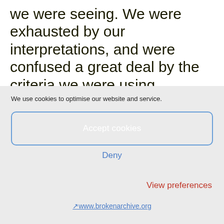we were seeing. We were exhausted by our interpretations, and were confused a great deal by the criteria we were using. Art, among other creative fields, appeared significantly supernatural, but when we saw a painting or a book cover by Youssef Abdelke, we would halt in front of two things: the
We use cookies to optimise our website and service.
Accept cookies
Deny
View preferences
↗www.brokenarchive.org